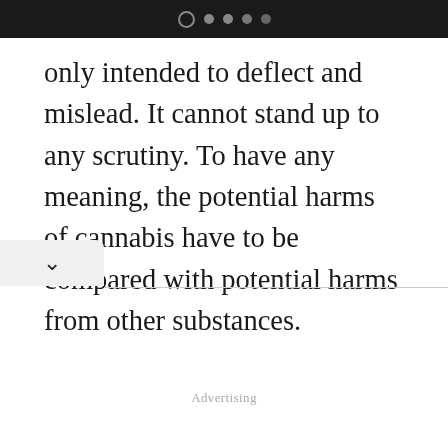pagination dots
only intended to deflect and mislead. It cannot stand up to any scrutiny. To have any meaning, the potential harms of cannabis have to be compared with potential harms from other substances.
Advertising